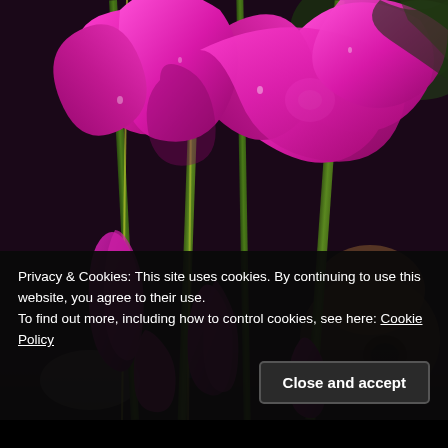[Figure (photo): Close-up photograph of bright magenta/pink gladiolus flowers on tall green stems. Multiple blooms visible — fully open trumpet-shaped flowers at top, and closed buds further down the stems. Background shows garden setting with terracotta pots and other objects. Flowers appear wet with water droplets.]
Privacy & Cookies: This site uses cookies. By continuing to use this website, you agree to their use.
To find out more, including how to control cookies, see here: Cookie Policy
Close and accept